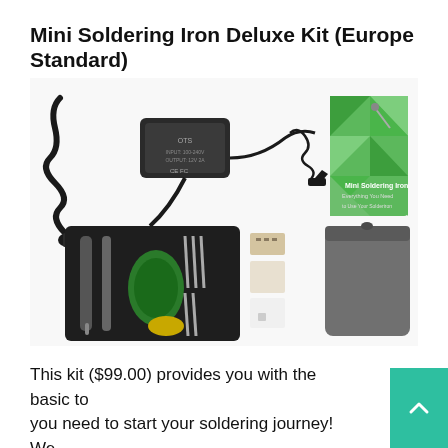Mini Soldering Iron Deluxe Kit (Europe Standard)
[Figure (photo): Product photo of Mini Soldering Iron Deluxe Kit showing contents: power cable, AC adapter, coiled cable with clips, instruction booklet, carrying pouch, foam-lined case with soldering iron tools and accessories, extra tips, and solder holder]
This kit ($99.00) provides you with the basic to you need to start your soldering journey! We understand that you may feel lost, not knowing...